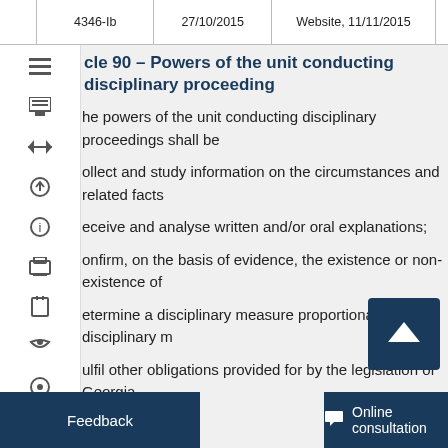|  | 4346-Ib | 27/10/2015 | Website, 11/11/2015 |  |
| --- | --- | --- | --- | --- |
|  |
Article 90 – Powers of the unit conducting disciplinary proceedings
The powers of the unit conducting disciplinary proceedings shall be:
collect and study information on the circumstances and related facts;
receive and analyse written and/or oral explanations;
confirm, on the basis of evidence, the existence or non-existence of
determine a disciplinary measure proportionate to the disciplinary m
fulfil other obligations provided for by the legislation of Georgia.
When exercising its powers, a unit conducting disciplinary proceedings other legal acts.
Article 91 – Disciplinary proceedings
the initiation of disciplinary proceedings days after the initiation of disciplinary proceedings or after the ide